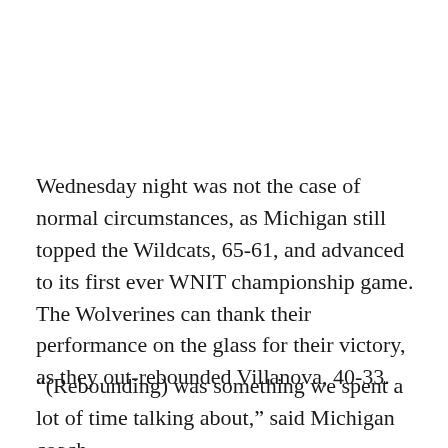Wednesday night was not the case of normal circumstances, as Michigan still topped the Wildcats, 65-61, and advanced to its first ever WNIT championship game. The Wolverines can thank their performance on the glass for their victory, as they out-rebounded Villanova, 40-33.
“(Rebounding) was something we spent a lot of time talking about,” said Michigan coach